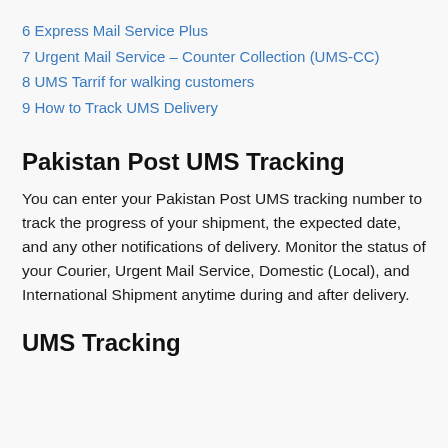6 Express Mail Service Plus
7 Urgent Mail Service – Counter Collection (UMS-CC)
8 UMS Tarrif for walking customers
9 How to Track UMS Delivery
Pakistan Post UMS Tracking
You can enter your Pakistan Post UMS tracking number to track the progress of your shipment, the expected date, and any other notifications of delivery. Monitor the status of your Courier, Urgent Mail Service, Domestic (Local), and International Shipment anytime during and after delivery.
UMS Tracking